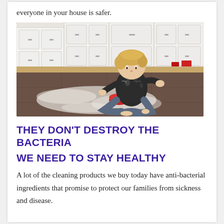everyone in your house is safer.
[Figure (photo): A young blonde child sitting cross-legged on a kitchen floor, playing with white powder (flour) spread around, with white kitchen cabinets in the background and a red bowl nearby.]
THEY DON'T DESTROY THE BACTERIA WE NEED TO STAY HEALTHY
A lot of the cleaning products we buy today have anti-bacterial ingredients that promise to protect our families from sickness and disease.